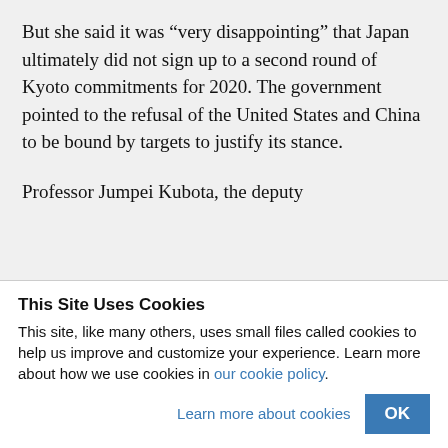But she said it was “very disappointing” that Japan ultimately did not sign up to a second round of Kyoto commitments for 2020. The government pointed to the refusal of the United States and China to be bound by targets to justify its stance.
Professor Jumpei Kubota, the deputy
This Site Uses Cookies
This site, like many others, uses small files called cookies to help us improve and customize your experience. Learn more about how we use cookies in our cookie policy.
Learn more about cookies
OK